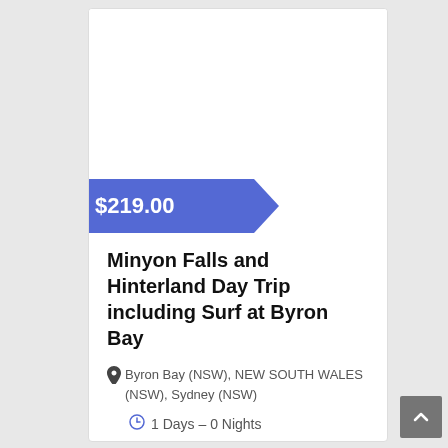[Figure (other): White image/photo placeholder area at top of card]
$219.00
Minyon Falls and Hinterland Day Trip including Surf at Byron Bay
Byron Bay (NSW), NEW SOUTH WALES (NSW), Sydney (NSW)
1 Days – 0 Nights